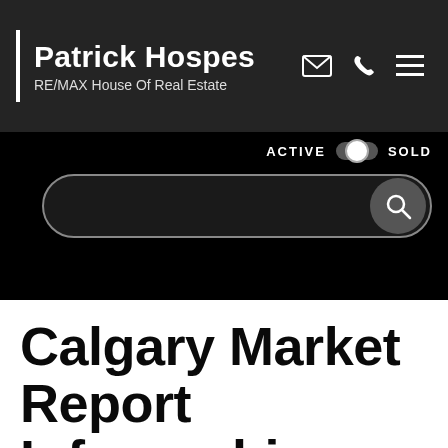Patrick Hospes
RE/MAX House Of Real Estate
[Figure (screenshot): Navigation bar with ACTIVE/SOLD toggle and search bar on black background]
Calgary Market Report Infographics
INFOGRAPHICS: July 2022 CREB City And Region Market Reports
Detached home sales decline as apartment